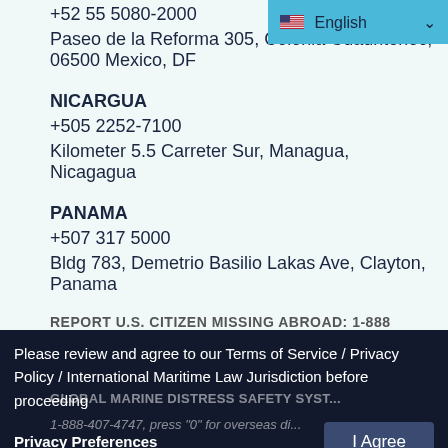+52 55 5080-2000
Paseo de la Reforma 305, Colonia Cuauhtenoc, 06500 Mexico, DF
NICARGUA
+505 2252-7100
Kilometer 5.5 Carreter Sur, Managua, Nicagagua
PANAMA
+507 317 5000
Bldg 783, Demetrio Basilio Lakas Ave, Clayton, Panama
REPORT U.S. CITIZEN MISSING ABROAD: 1-888
Please review and agree to our Terms of Service / Privacy Policy / International Maritime Law Jurisdiction before proceeding
GLOBAL MARINE DISTRESS SAFETY SYST...
Privacy Preferences
I Agree
1-888-407-4747, press "0" for overseas di...